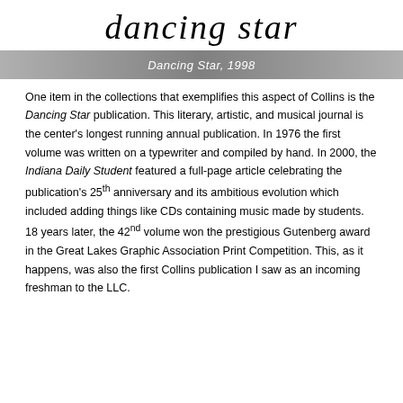dancing star
Dancing Star, 1998
One item in the collections that exemplifies this aspect of Collins is the Dancing Star publication. This literary, artistic, and musical journal is the center's longest running annual publication. In 1976 the first volume was written on a typewriter and compiled by hand. In 2000, the Indiana Daily Student featured a full-page article celebrating the publication's 25th anniversary and its ambitious evolution which included adding things like CDs containing music made by students. 18 years later, the 42nd volume won the prestigious Gutenberg award in the Great Lakes Graphic Association Print Competition. This, as it happens, was also the first Collins publication I saw as an incoming freshman to the LLC.